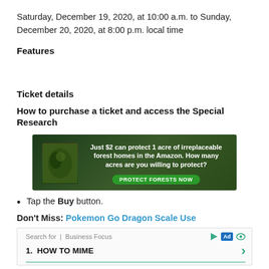Saturday, December 19, 2020, at 10:00 a.m. to Sunday, December 20, 2020, at 8:00 p.m. local time
Features
Ticket details
How to purchase a ticket and access the Special Research
[Figure (other): Advertisement banner with forest background: 'Just $2 can protect 1 acre of irreplaceable forest homes in the Amazon. How many acres are you willing to protect?' with a green 'PROTECT FORESTS NOW' button]
Tap the Buy button.
Don't Miss: Pokemon Go Dragon Scale Use
[Figure (other): Search advertisement box: 'Search for | Business Focus' with play, Ad, and eye icons. Item 1: HOW TO MIME with green arrow and teal underline.]